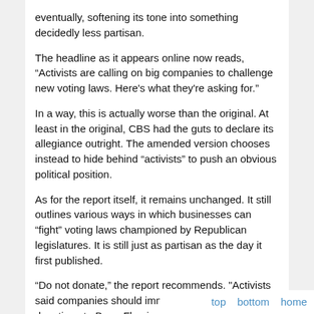eventually, softening its tone into something decidedly less partisan.
The headline as it appears online now reads, “Activists are calling on big companies to challenge new voting laws. Here's what they're asking for.”
In a way, this is actually worse than the original. At least in the original, CBS had the guts to declare its allegiance outright. The amended version chooses instead to hide behind “activists” to push an obvious political position.
As for the report itself, it remains unchanged. It still outlines various ways in which businesses can “fight” voting laws championed by Republican legislatures. It is still just as partisan as the day it first published.
“Do not donate,” the report recommends. "Activists said companies should immediately stop making donations to Barry Fleming and Michael Dugan, the Georgia Republicans who co-sponsored changes."
top   bottom   home